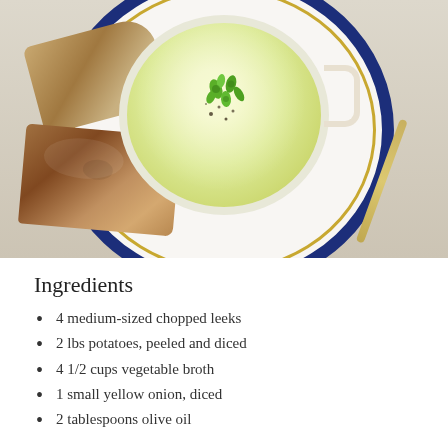[Figure (photo): Overhead view of a bowl of leek and potato soup garnished with chopped scallions and black pepper, served on a decorative blue and white plate with slices of toasted crusty bread and a spoon on the side.]
Ingredients
4 medium-sized chopped leeks
2 lbs potatoes, peeled and diced
4 1/2 cups vegetable broth
1 small yellow onion, diced
2 tablespoons olive oil